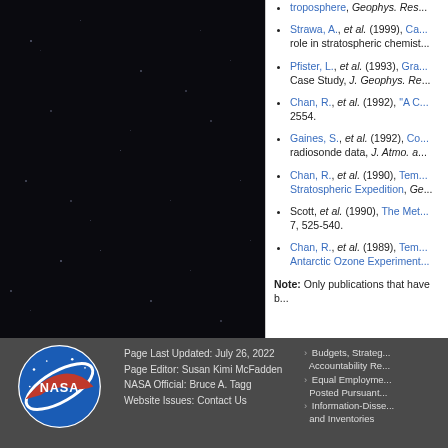troposphere, Geophys. Res...
Strawa, A., et al. (1999), Ca... role in stratospheric chemist...
Pfister, L., et al. (1993), Gra... Case Study, J. Geophys. Re...
Chan, R., et al. (1992), "A C... 2554.
Gaines, S., et al. (1992), Co... radiosonde data, J. Atmo. a...
Chan, R., et al. (1990), Tem... Stratospheric Expedition, Ge...
Scott, et al. (1990), The Met... 7, 525-540.
Chan, R., et al. (1989), Tem... Antarctic Ozone Experiment...
Note: Only publications that have b...
Page Last Updated: July 26, 2022 | Page Editor: Susan Kimi McFadden | NASA Official: Bruce A. Tagg | Website Issues: Contact Us | Budgets, Strateg... Accountability Re... | Equal Employme... Posted Pursuant... | Information-Disse... and Inventories